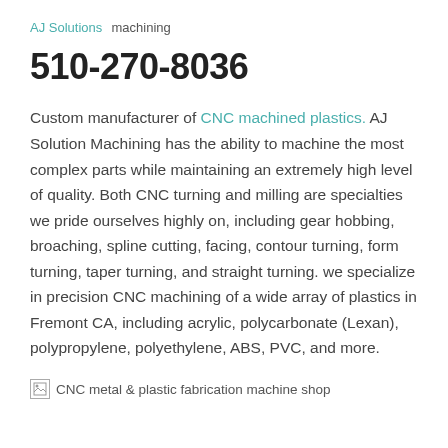AJ Solutions  machining
510-270-8036
Custom manufacturer of CNC machined plastics. AJ Solution Machining has the ability to machine the most complex parts while maintaining an extremely high level of quality. Both CNC turning and milling are specialties we pride ourselves highly on, including gear hobbing, broaching, spline cutting, facing, contour turning, form turning, taper turning, and straight turning. we specialize in precision CNC machining of a wide array of plastics in Fremont CA, including acrylic, polycarbonate (Lexan), polypropylene, polyethylene, ABS, PVC, and more.
[Figure (photo): CNC metal & plastic fabrication machine shop image (broken/loading image placeholder)]